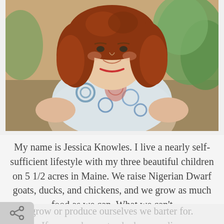[Figure (photo): Portrait photo of a woman with curly red hair wearing a patterned blue and white scarf/shawl, outdoors with green foliage in background]
My name is Jessica Knowles. I live a nearly self-sufficient lifestyle with my three beautiful children on 5 1/2 acres in Maine. We raise Nigerian Dwarf goats, ducks, and chickens, and we grow as much food as we can. What we can't grow or produce ourselves we barter for. If we can homestead where we live